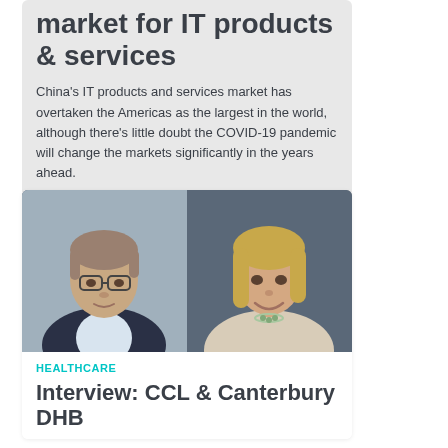market for IT products & services
China's IT products and services market has overtaken the Americas as the largest in the world, although there's little doubt the COVID-19 pandemic will change the markets significantly in the years ahead.
[Figure (photo): Two portrait photos side by side: on the left, a middle-aged man with glasses wearing a dark blazer; on the right, a smiling blonde woman in a light jacket.]
HEALTHCARE
Interview: CCL & Canterbury DHB